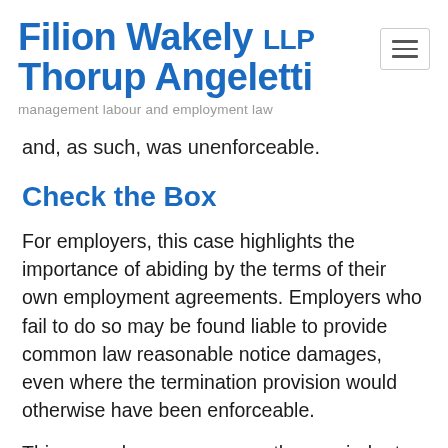Filion Wakely LLP Thorup Angeletti — management labour and employment law
and, as such, was unenforceable.
Check the Box
For employers, this case highlights the importance of abiding by the terms of their own employment agreements. Employers who fail to do so may be found liable to provide common law reasonable notice damages, even where the termination provision would otherwise have been enforceable.
This case also serves as another reminder to